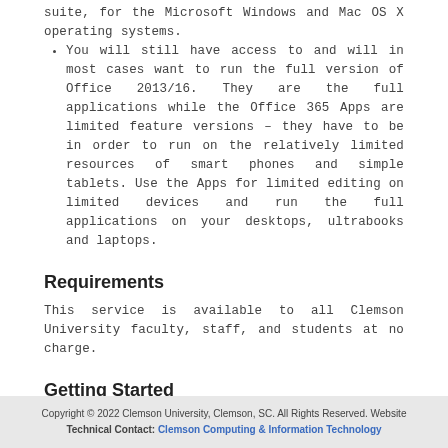suite, for the Microsoft Windows and Mac OS X operating systems.
You will still have access to and will in most cases want to run the full version of Office 2013/16. They are the full applications while the Office 365 Apps are limited feature versions – they have to be in order to run on the relatively limited resources of smart phones and simple tablets. Use the Apps for limited editing on limited devices and run the full applications on your desktops, ultrabooks and laptops.
Requirements
This service is available to all Clemson University faculty, staff, and students at no charge.
Getting Started
Users have been provisioned to Office 365.
Copyright © 2022 Clemson University, Clemson, SC. All Rights Reserved. Website Technical Contact: Clemson Computing & Information Technology